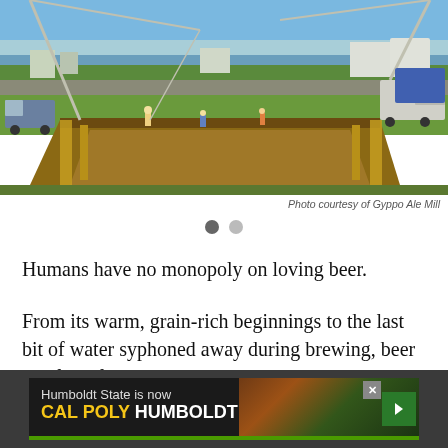[Figure (photo): Aerial/elevated view of a construction site with excavation work, cranes, workers in hard hats, green fields, and coastal town in background with water visible on the horizon.]
Photo courtesy of Gyppo Ale Mill
Humans have no monopoly on loving beer.
From its warm, grain-rich beginnings to the last bit of water syphoned away during brewing, beer is a feast for species great and small.
[Figure (infographic): Advertisement banner: 'Humboldt State is now CAL POLY HUMBOLDT']